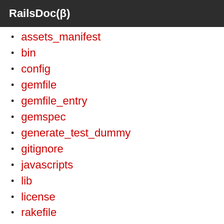RailsDoc(β)
assets_manifest
bin
config
gemfile
gemfile_entry
gemspec
generate_test_dummy
gitignore
javascripts
lib
license
rakefile
readme
stylesheets
test
test_dummy_assets
test_dummy_clean